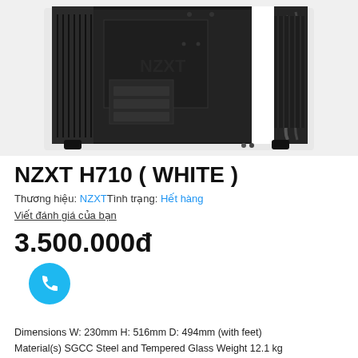[Figure (photo): NZXT H710 white and black PC case shown from internal/side view, with tempered glass panel, white cable management bar, and black interior]
NZXT H710 ( WHITE )
Thương hiệu: NZXTTình trạng: Hết hàng
Viết đánh giá của bạn
3.500.000đ
Dimensions W: 230mm H: 516mm D: 494mm (with feet) Material(s) SGCC Steel and Tempered Glass Weight 12.1 kg Motherboard Support Mini ITX, Micro ATX, ATX and EATX (Up to